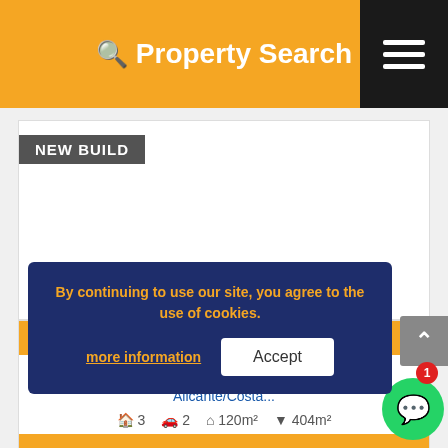Property Search
[Figure (screenshot): Property listing image area (white/blank) with NEW BUILD badge]
Ref: AG4-N5851
3 BEDROOM VILLA
Alicante/Costa...
3  2  120m²  404m²
PRICE: €384,000
By continuing to use our site, you agree to the use of cookies.
more information  Accept